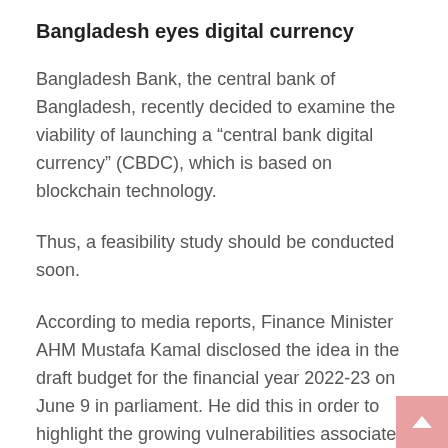Bangladesh eyes digital currency
Bangladesh Bank, the central bank of Bangladesh, recently decided to examine the viability of launching a “central bank digital currency” (CBDC), which is based on blockchain technology.
Thus, a feasibility study should be conducted soon.
According to media reports, Finance Minister AHM Mustafa Kamal disclosed the idea in the draft budget for the financial year 2022-23 on June 9 in parliament. He did this in order to highlight the growing vulnerabilities associated